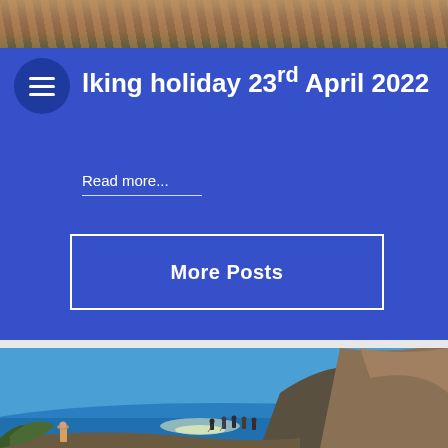[Figure (photo): Top portion of an outdoor rocky/landscape photo, partially visible]
lking holiday 23rd April 2022
Read more...
More Posts
[Figure (photo): Group of hikers walking along a rocky coastal cliff path with blue sea and sun reflection visible in the background]